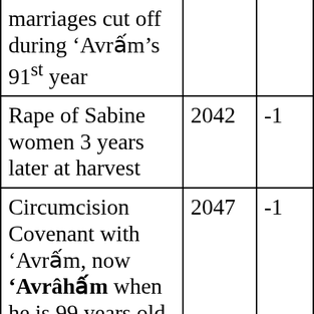| marriages cut off during ‘Avrâ´m’s 91st year |  |  |
| Rape of Sabine women 3 years later at harvest | 2042 | -1 |
| Circumcision Covenant with ‘Avrâ´m, now ‘Avrâhâ´m when he is 99 years old (Gen. 17:1-11). Çthóm + plain cities overthrown. Mow’â | 2047 | -1 |